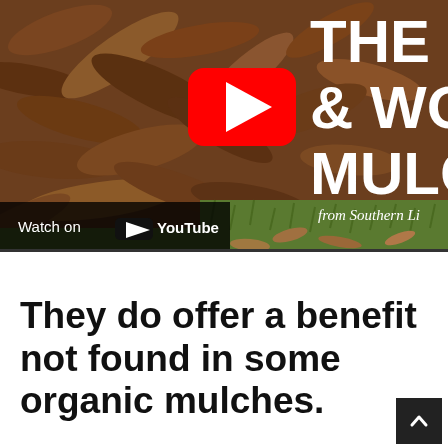[Figure (screenshot): YouTube video thumbnail showing a pile of brown wood chip mulch on grass. Partial white bold text visible on the right side reading 'THE', '& WO', 'MULC', and 'from Southern Li'. A red YouTube play button is centered in the upper right area. At the bottom left is a dark bar reading 'Watch on YouTube'.]
They do offer a benefit not found in some organic mulches.